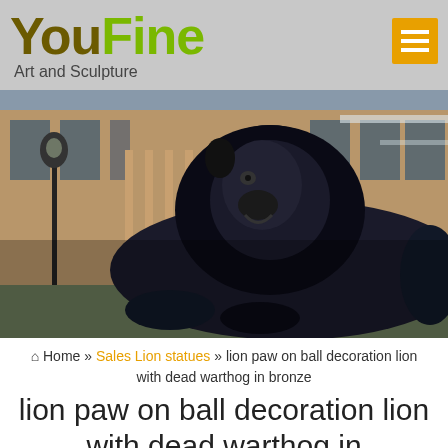[Figure (logo): YouFine Art and Sculpture logo with hamburger menu button]
[Figure (photo): Large bronze lion statue resting on a pedestal with a historic European building in the background, HDR-filtered photograph]
Home » Sales Lion statues » lion paw on ball decoration lion with dead warthog in bronze
lion paw on ball decoration lion with dead warthog in